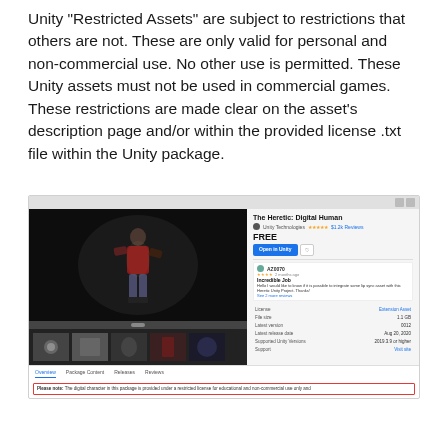Unity "Restricted Assets" are subject to restrictions that others are not. These are only valid for personal and non-commercial use. No other use is permitted. These Unity assets must not be used in commercial games. These restrictions are made clear on the asset's description page and/or within the provided license .txt file within the Unity package.
[Figure (screenshot): Screenshot of Unity Asset Store page for 'The Heretic: Digital Human' asset showing a 3D character, FREE price, Open in Unity button, user review, metadata (License: Extension Asset, File size: 1.1 GB, Latest version: 0012, Latest release date: Aug 20, 2020, Supported Unity Versions: 2019.3.9 or higher, Support: Visit site), tabs (Overview, Package Content, Releases, Reviews), and a red-bordered notice at the bottom.]